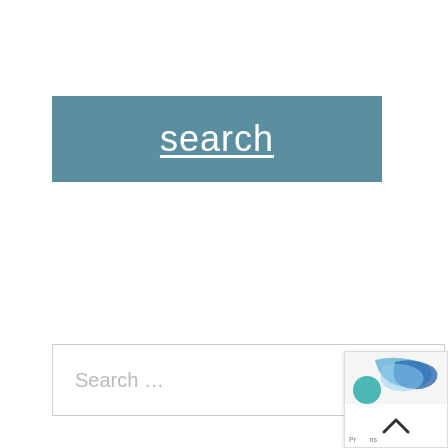search
Search …
[Figure (screenshot): Corner widget with colorful icon and up-chevron button]